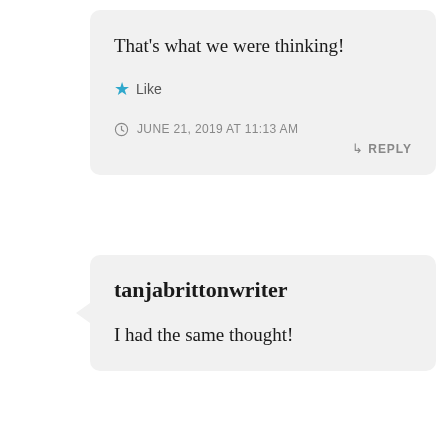That's what we were thinking!
★ Like
JUNE 21, 2019 AT 11:13 AM
↳ REPLY
tanjabrittonwriter
I had the same thought!